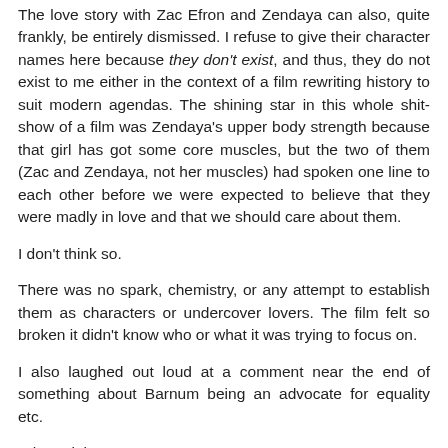The love story with Zac Efron and Zendaya can also, quite frankly, be entirely dismissed. I refuse to give their character names here because they don't exist, and thus, they do not exist to me either in the context of a film rewriting history to suit modern agendas. The shining star in this whole shit-show of a film was Zendaya's upper body strength because that girl has got some core muscles, but the two of them (Zac and Zendaya, not her muscles) had spoken one line to each other before we were expected to believe that they were madly in love and that we should care about them.
I don't think so.
There was no spark, chemistry, or any attempt to establish them as characters or undercover lovers. The film felt so broken it didn't know who or what it was trying to focus on.
I also laughed out loud at a comment near the end of something about Barnum being an advocate for equality etc.
What a joke.